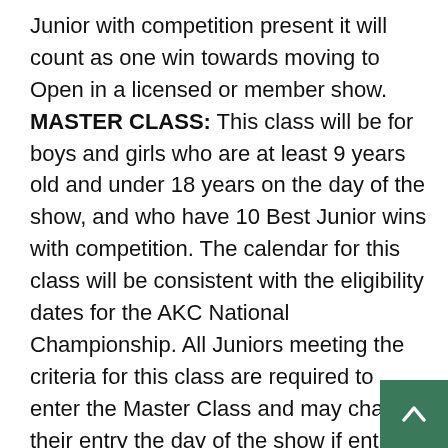Junior with competition present it will count as one win towards moving to Open in a licensed or member show. MASTER CLASS: This class will be for boys and girls who are at least 9 years old and under 18 years on the day of the show, and who have 10 Best Junior wins with competition. The calendar for this class will be consistent with the eligibility dates for the AKC National Championship. All Juniors meeting the criteria for this class are required to enter the Master Class and may change their entry the day of the show if entries have already closed. Once the eligibility time frame for that year has passed all participants return to the Open Class to compete for the following year. NOVICE AND OPEN CLASS DIVIDED: Junior-9 years old...